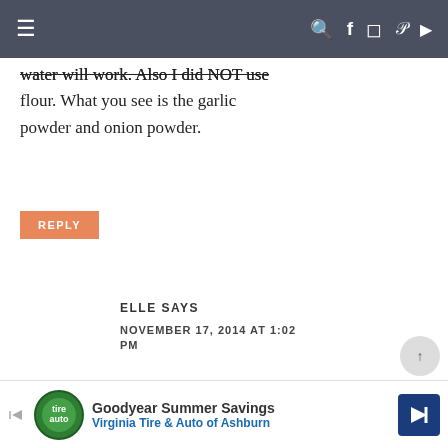≡  🔍 f 📷 p ▶
water will work. Also I did NOT use flour. What you see is the garlic powder and onion powder.
REPLY
ELLE SAYS
NOVEMBER 17, 2014 AT 1:02 PM
Thanks for the clarification! Looking forward to making these.
REPLY
[Figure (infographic): Goodyear Summer Savings advertisement banner - Virginia Tire & Auto of Ashburn]